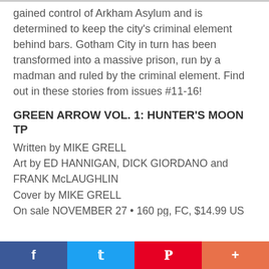gained control of Arkham Asylum and is determined to keep the city's criminal element behind bars. Gotham City in turn has been transformed into a massive prison, run by a madman and ruled by the criminal element. Find out in these stories from issues #11-16!
GREEN ARROW VOL. 1: HUNTER'S MOON TP
Written by MIKE GRELL
Art by ED HANNIGAN, DICK GIORDANO and FRANK McLAUGHLIN
Cover by MIKE GRELL
On sale NOVEMBER 27 • 160 pg, FC, $14.99 US